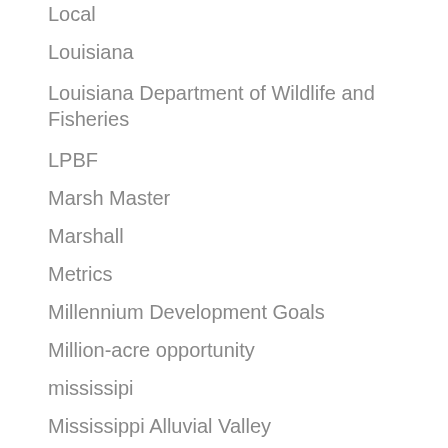Local
Louisiana
Louisiana Department of Wildlife and Fisheries
LPBF
Marsh Master
Marshall
Metrics
Millennium Development Goals
Million-acre opportunity
mississipi
Mississippi Alluvial Valley